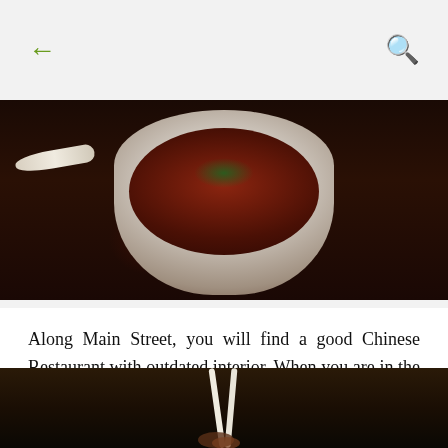← (back arrow)  🔍 (search icon)
[Figure (photo): Top-down photo of a white bowl containing dark reddish-brown soup or stew garnished with green herbs, with a white spoon visible on the left, set against a dark background.]
Along Main Street, you will find a good Chinese Restaurant with outdated interior. When you are in the restaurant, you will think that you are in the "Back to the Future" movie, where Martin McFly went to the past. For me, I really thought that I went back in time when I dined there.
[Figure (photo): Photo of white chopsticks picking up food from a white and blue patterned plate containing meat or seafood dish, against a dark background.]